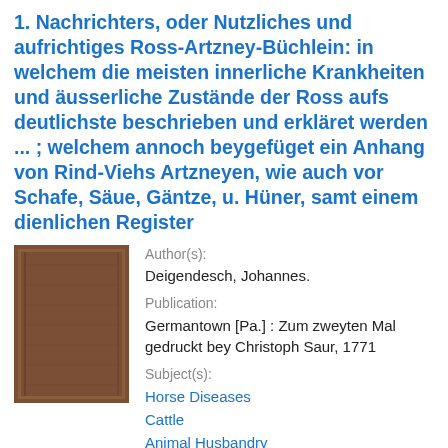1. Nachrichters, oder Nutzliches und aufrichtiges Ross-Artzney-Büchlein: in welchem die meisten innerliche Krankheiten und äusserliche Zustände der Ross aufs deutlichste beschrieben und erkläret werden ... ; welchem annoch beygefüget ein Anhang von Rind-Viehs Artzneyen, wie auch vor Schafe, Säue, Gäntze, u. Hüner, samt einem dienlichen Register
[Figure (photo): Brown book cover image]
Author(s):
Deigendesch, Johannes.
Publication:
Germantown [Pa.] : Zum zweyten Mal gedruckt bey Christoph Saur, 1771
Subject(s):
Horse Diseases
Cattle
Animal Husbandry